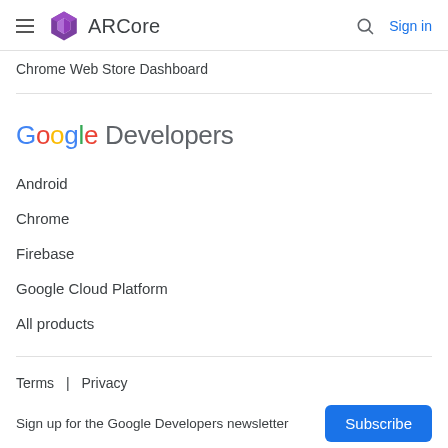ARCore | Sign in
Chrome Web Store Dashboard
[Figure (logo): Google Developers logo with colorful Google letters followed by 'Developers' in grey]
Android
Chrome
Firebase
Google Cloud Platform
All products
Terms | Privacy
Sign up for the Google Developers newsletter